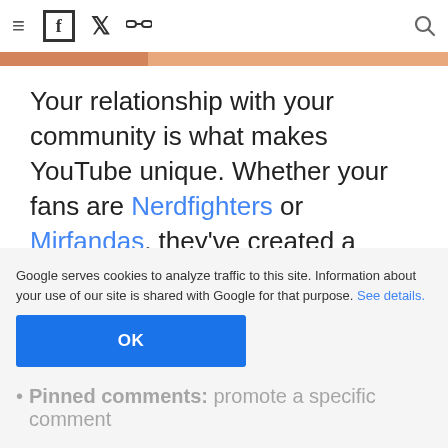≡  f  𝕏  🔗  🔍
Your relationship with your community is what makes YouTube unique. Whether your fans are Nerdfighters or Mirfandas, they've created a close-knit bond with you and your content. We realize that comments play a key role in growing this connection and we're dedicated to making your conversations with your community easier
and more personal. We've been listening to your feedback and we're excited to roll out new comment features, including,
Google serves cookies to analyze traffic to this site. Information about your use of our site is shared with Google for that purpose. See details.
Pinned comments: promote a specific comment